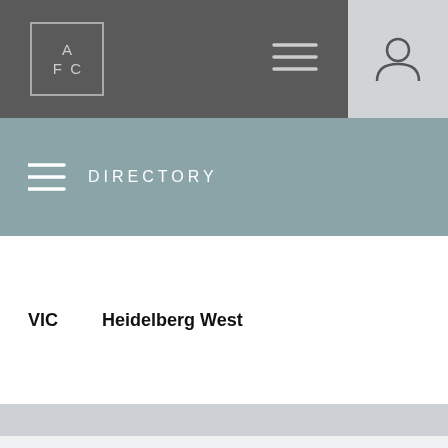AFC logo navigation bar with hamburger menu and user icon
DIRECTORY
VIC    Heidelberg West